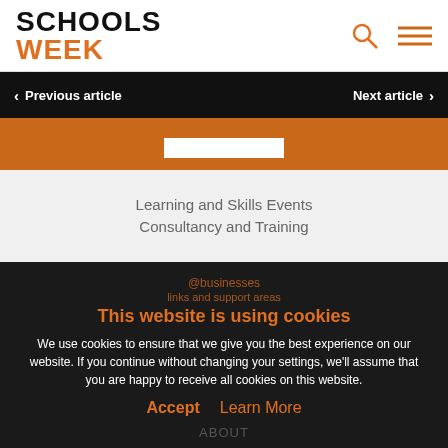[Figure (logo): Schools Week logo with SCHOOLS in black bold and WEEK in orange bold]
Previous article | Next article
Learning and Skills Events Consultancy and Training
This website is using cookies
We use cookies to ensure that we give you the best experience on our website. If you continue without changing your settings, we'll assume that you are happy to receive all cookies on this website.
Accept  Learn More
ABOUT